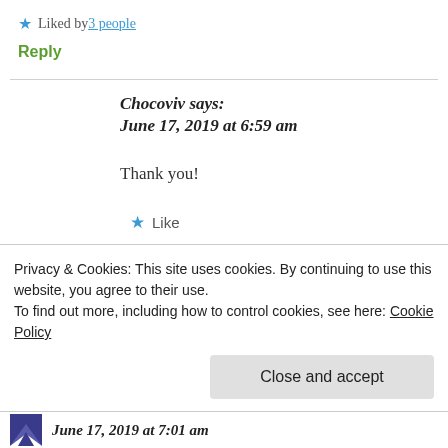★ Liked by 3 people
Reply
Chocoviv says:
June 17, 2019 at 6:59 am
Thank you!
★ Like
Privacy & Cookies: This site uses cookies. By continuing to use this website, you agree to their use.
To find out more, including how to control cookies, see here: Cookie Policy
Close and accept
June 17, 2019 at 7:01 am